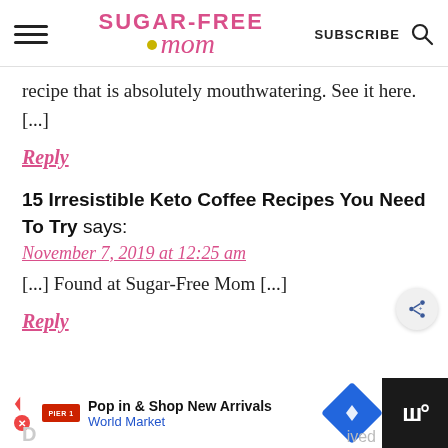Sugar-Free Mom — SUBSCRIBE
recipe that is absolutely mouthwatering. See it here. [...]
Reply
15 Irresistible Keto Coffee Recipes You Need To Try says:
November 7, 2019 at 12:25 am
[...] Found at Sugar-Free Mom [...]
Reply
Pop in & Shop New Arrivals World Market